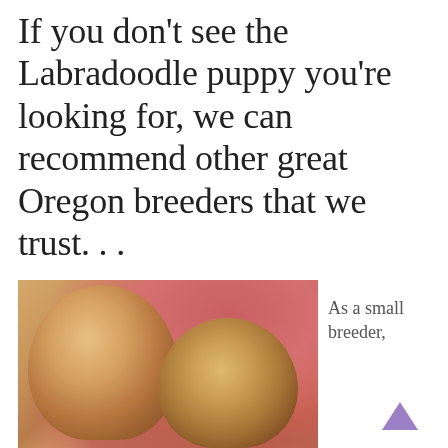If you don't see the Labradoodle puppy you're looking for, we can recommend other great Oregon breeders that we trust. . .
[Figure (photo): Two golden Labradoodle puppies sitting together on a floral pink couch with green foliage in background]
As a small breeder,